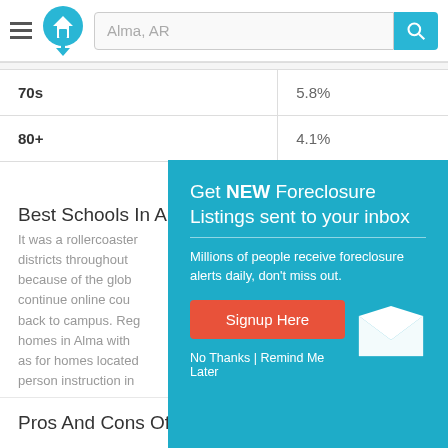Alma, AR — search bar header
| Age Group | Percentage |
| --- | --- |
| 70s | 5.8% |
| 80+ | 4.1% |
Best Schools In Al...
It was a rollercoaster... districts throughout... because of the glob... continue online cou... back to campus. Reg... homes in Alma with ... as for homes located... person instruction in...
[Figure (screenshot): Popup modal: Get NEW Foreclosure Listings sent to your inbox. Millions of people receive foreclosure alerts daily, don't miss out. Signup Here button. No Thanks | Remind Me Later links. White envelope icon.]
Pros And Cons Of Living In Alma, Arkansas